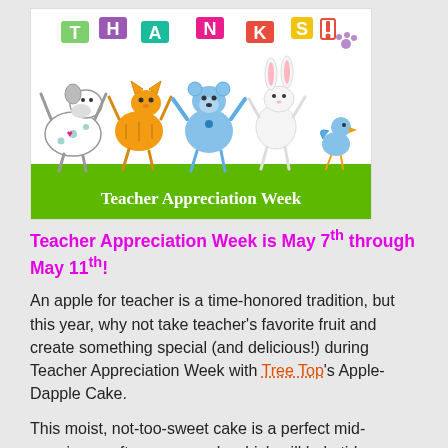[Figure (illustration): Cartoon animals (spotted dog, orange cat, blue bear, white rabbit, small bird) holding colorful letters spelling THANKS! with a green banner at the bottom reading Teacher Appreciation Week]
Teacher Appreciation Week is May 7th through May 11th!
An apple for teacher is a time-honored tradition, but this year, why not take teacher's favorite fruit and create something special (and delicious!) during Teacher Appreciation Week with Tree Top's Apple-Dapple Cake.
This moist, not-too-sweet cake is a perfect mid-morning or afternoon snack, which will help tide teachers over through the craze of the school day. As